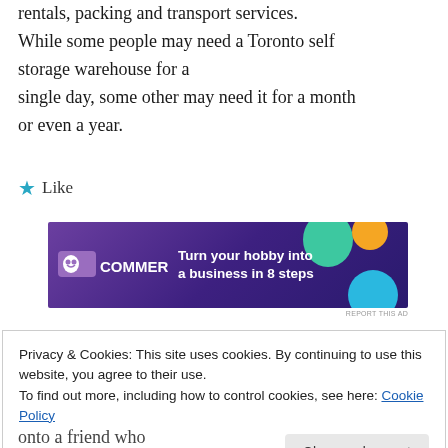rentals, packing and transport services. While some people may need a Toronto self storage warehouse for a single day, some other may need it for a month or even a year.
★ Like
[Figure (infographic): WooCommerce advertisement banner: 'Turn your hobby into a business in 8 steps']
REPORT THIS AD
Privacy & Cookies: This site uses cookies. By continuing to use this website, you agree to their use. To find out more, including how to control cookies, see here: Cookie Policy
Close and accept
onto a friend who